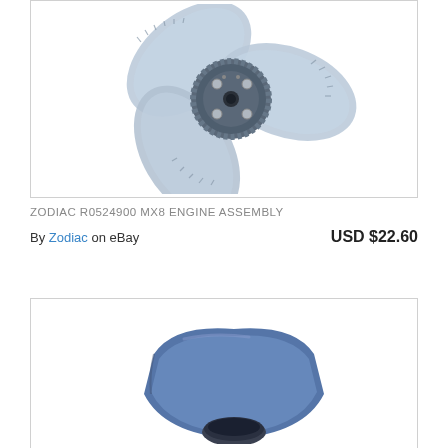[Figure (photo): Zodiac MX8 engine assembly propeller-like component with three curved blades in light blue/grey and a central dark grey hub with bolts]
ZODIAC R0524900 MX8 ENGINE ASSEMBLY
By Zodiac on eBay  USD $22.60
[Figure (photo): Blue pool cleaner part with a cylindrical opening/port, partially visible at the bottom of the page]